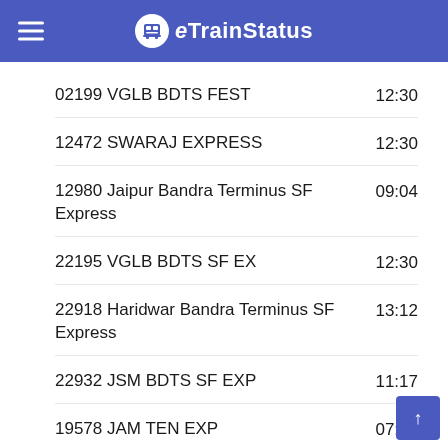eTrainStatus
02199 VGLB BDTS FEST   12:30
12472 SWARAJ EXPRESS   12:30
12980 Jaipur Bandra Terminus SF Express   09:04
22195 VGLB BDTS SF EX   12:30
22918 Haridwar Bandra Terminus SF Express   13:12
22932 JSM BDTS SF EXP   11:17
19578 JAM TEN EXP   07:07
20910 Porbandar Kochuveli Weekly SF Express   07:07